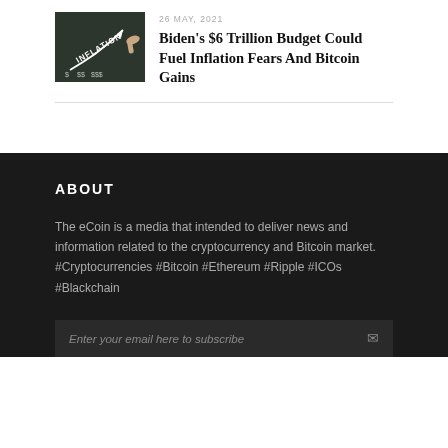[Figure (photo): Chalkboard with 'INFLATION' text and upward arrow chart with dollar signs, hand pointing at chart]
26 MAY, 2021
Biden's $6 Trillion Budget Could Fuel Inflation Fears And Bitcoin Gains
ABOUT
The eCoin is a media that intended to deliver news and information related to the cryptocurrency and Bitcoin market.
#Cryptocurrencies #Bitcoin #Ethereum #Ripple #ICOs #Blackchain
Enter your email here to subscribe